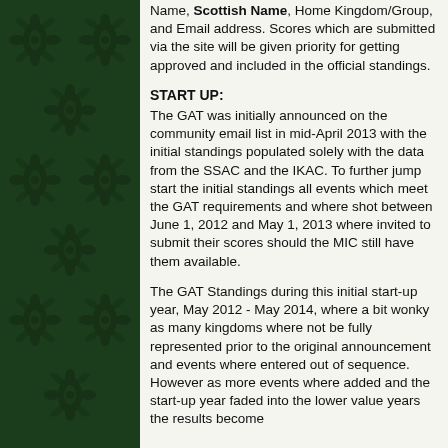Name, Scottish Name, Home Kingdom/Group, and Email address. Scores which are submitted via the site will be given priority for getting approved and included in the official standings.
START UP:
The GAT was initially announced on the community email list in mid-April 2013 with the initial standings populated solely with the data from the SSAC and the IKAC. To further jump start the initial standings all events which meet the GAT requirements and where shot between June 1, 2012 and May 1, 2013 where invited to submit their scores should the MIC still have them available.
The GAT Standings during this initial start-up year, May 2012 - May 2014, where a bit wonky as many kingdoms where not be fully represented prior to the original announcement and events where entered out of sequence. However as more events where added and the start-up year faded into the lower value years the results become